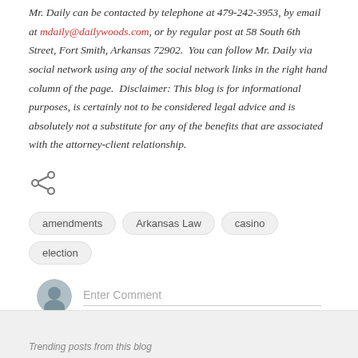Mr. Daily can be contacted by telephone at 479-242-3953, by email at mdaily@dailywoods.com, or by regular post at 58 South 6th Street, Fort Smith, Arkansas 72902. You can follow Mr. Daily via social network using any of the social network links in the right hand column of the page. Disclaimer: This blog is for informational purposes, is certainly not to be considered legal advice and is absolutely not a substitute for any of the benefits that are associated with the attorney-client relationship.
[Figure (other): Share icon (social sharing button)]
amendments
Arkansas Law
casino
election
Enter Comment
Trending posts from this blog